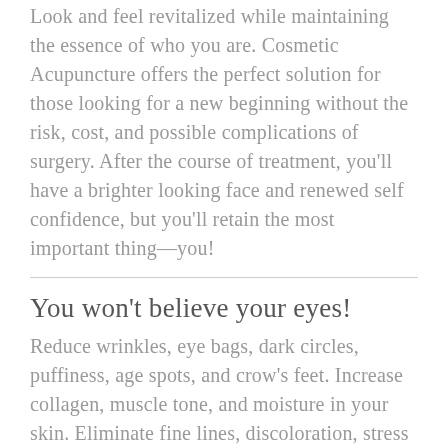Look and feel revitalized while maintaining the essence of who you are. Cosmetic Acupuncture offers the perfect solution for those looking for a new beginning without the risk, cost, and possible complications of surgery. After the course of treatment, you'll have a brighter looking face and renewed self confidence, but you'll retain the most important thing—you!
You won't believe your eyes!
Reduce wrinkles, eye bags, dark circles, puffiness, age spots, and crow's feet. Increase collagen, muscle tone, and moisture in your skin. Eliminate fine lines, discoloration, stress and anxiety.